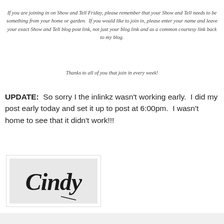If you are joining in on Show and Tell Friday, please remember that your Show and Tell needs to be something from your home or garden. If you would like to join in, please enter your name and leave your exact Show and Tell blog post link, not just your blog link and as a common courtesy link back to my blog.
Thanks to all of you that join in every week!
UPDATE:  So sorry I the inlinkz wasn't working early.  I did my post early today and set it up to post at 6:00pm.  I wasn't home to see that it didn't work!!!
[Figure (illustration): Signature image showing the name 'Cindy' written in cursive script on a light gray background, enclosed in a white bordered box]